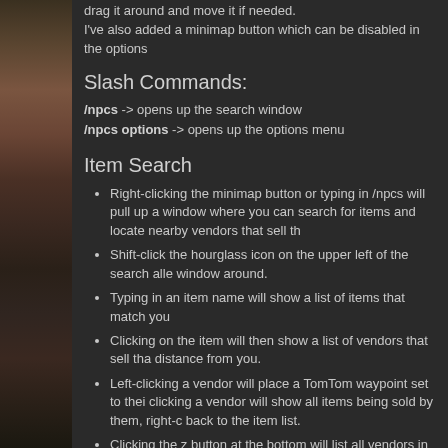drag it around and move it if needed.
I've also added a minimap button which can be disabled in the options
Slash Commands:
/npcs -> opens up the search window
/npcs options -> opens up the options menu
Item Search
Right-clicking the minimap button or typing in /npcs will pull up a window where you can search for items and locate nearby vendors that sell th
Shift-click the hourglass icon on the upper left of the search allows you to drag the window around.
Typing in an item name will show a list of items that match your
Clicking on the item will then show a list of vendors that sell that item sorted by distance from you.
Left-clicking a vendor will place a TomTom waypoint set to their location. Middle-clicking a vendor will show all items being sold by them, right-clicking will go back to the item list.
Clicking the z button at the bottom will list all vendors in your cu
If you have any problems then please file a ticket. Also be sure to include your client language just in case it's needed.
Right-clicking on a marker will set a waypoint if TomTom is present and enabled. Settings can be found under Interface -> Addons -> HandyNotes -> typing /npcs options in chat.